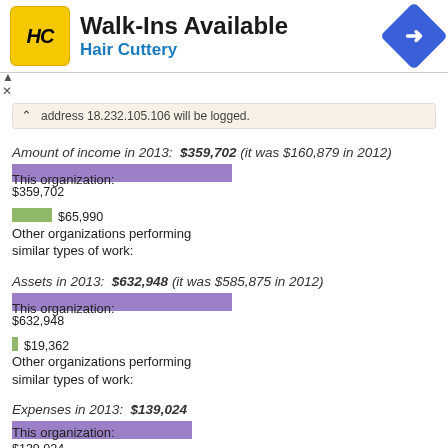[Figure (screenshot): Hair Cuttery advertisement banner: yellow HC logo, Walk-Ins Available headline, Hair Cuttery subtitle, blue diamond navigation icon]
address 18.232.105.106 will be logged.
Amount of income in 2013: $359,702 (it was $160,879 in 2012)
[Figure (bar-chart): Income comparison]
Assets in 2013: $632,948 (it was $585,875 in 2012)
[Figure (bar-chart): Assets comparison]
Expenses in 2013: $139,024
[Figure (bar-chart): Expenses comparison]